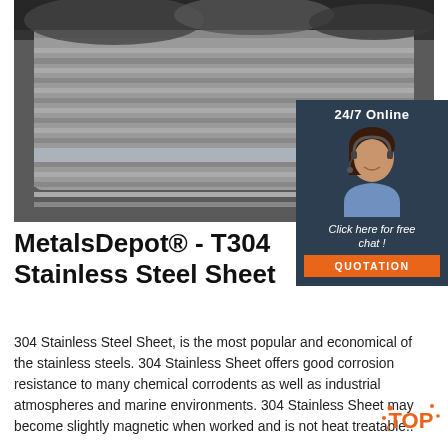[Figure (photo): Rolls of stainless steel wire/sheet coils stacked in a warehouse, grey metallic texture]
[Figure (infographic): 24/7 Online chat support panel with agent photo, 'Click here for free chat!' text and orange QUOTATION button]
MetalsDepot® - T304 Stainless Steel Sheet
304 Stainless Steel Sheet, is the most popular and economical of the stainless steels. 304 Stainless Sheet offers good corrosion resistance to many chemical corrodents as well as industrial atmospheres and marine environments. 304 Stainless Sheet may become slightly magnetic when worked and is not heat treatable..
[Figure (infographic): Orange TOP button with dot decoration]